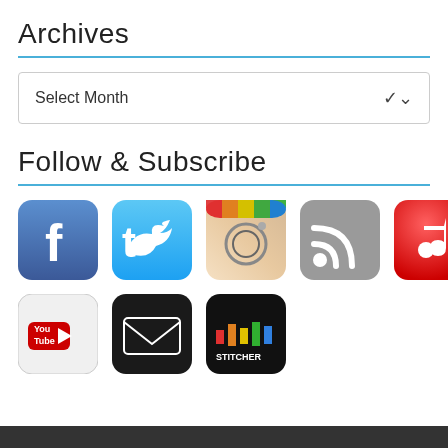Archives
Select Month
Follow & Subscribe
[Figure (screenshot): Row of social media app icons: Facebook, Twitter, Instagram, RSS, iTunes/Apple Music]
[Figure (screenshot): Row of social media app icons: YouTube, Email/Mail, Stitcher]